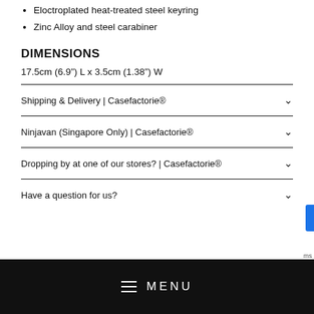Eloctroplated heat-treated steel keyring
Zinc Alloy and steel carabiner
DIMENSIONS
17.5cm (6.9") L x 3.5cm (1.38") W
Shipping & Delivery | Casefactorie®
Ninjavan (Singapore Only) | Casefactorie®
Dropping by at one of our stores? | Casefactorie®
Have a question for us?
MENU